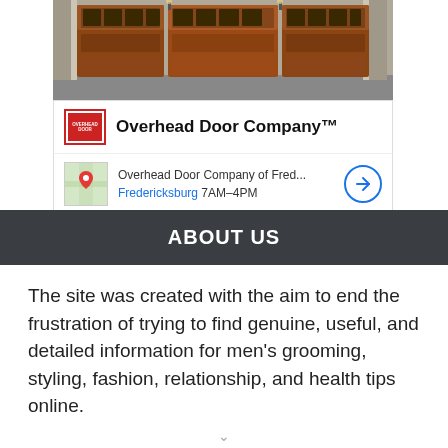[Figure (photo): Photo of three wooden garage doors with arched window panels on a house exterior with stone accents]
[Figure (screenshot): Advertisement for Overhead Door Company showing brand logo, company name, and local Fredericksburg location with map thumbnail and navigation button. Footer shows ezoic badge and 'report this ad' link.]
ABOUT US
The site was created with the aim to end the frustration of trying to find genuine, useful, and detailed information for men's grooming, styling, fashion, relationship, and health tips online.